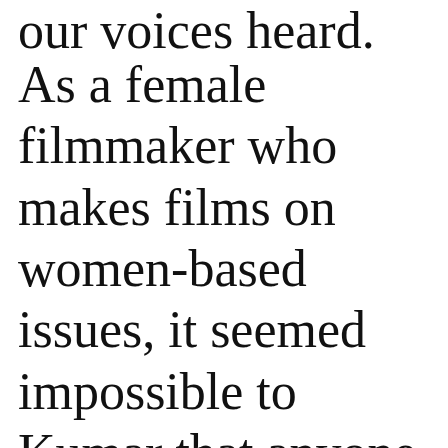our voices heard.
As a female filmmaker who makes films on women-based issues, it seemed impossible to Kumar that anyone could let such a subject matter slip through the